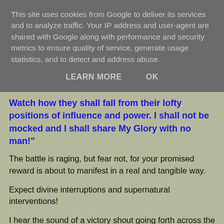This site uses cookies from Google to deliver its services and to analyze traffic. Your IP address and user-agent are shared with Google along with performance and security metrics to ensure quality of service, generate usage statistics, and to detect and address abuse.
LEARN MORE   OK
Watch how they shall fall from their lofty positions of influence and power.  I shall not be mocked and I shall share My Glory with no man!”
The battle is raging, but fear not, for your promised reward is about to manifest in a real and tangible way.
Expect divine interruptions and supernatural interventions!
I hear the sound of a victory shout going forth across the nations!
Brexit UK;  God has not changed His mind on Brexit!